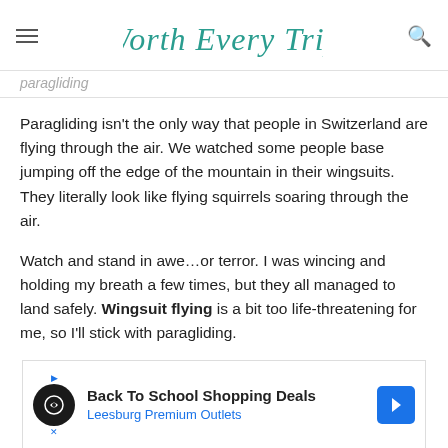Worth Every Trip
paragliding
Paragliding isn't the only way that people in Switzerland are flying through the air. We watched some people base jumping off the edge of the mountain in their wingsuits. They literally look like flying squirrels soaring through the air.
Watch and stand in awe…or terror. I was wincing and holding my breath a few times, but they all managed to land safely. Wingsuit flying is a bit too life-threatening for me, so I'll stick with paragliding.
[Figure (screenshot): Advertisement banner: Back To School Shopping Deals at Leesburg Premium Outlets with logo and blue arrow icon]